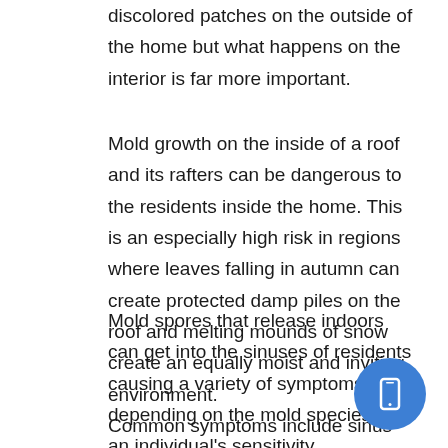discolored patches on the outside of the home but what happens on the interior is far more important.
Mold growth on the inside of a roof and its rafters can be dangerous to the residents inside the home. This is an especially high risk in regions where leaves falling in autumn can create protected damp piles on the roof and melting mounds of snow create an equally moist and inviting environment.
Mold spores that release indoors can get into the sinuses of residents causing a variety of symptoms depending on the mold species and an individual's sensitivity.
Common symptoms include sinus irritation, shortness of breath, and headaches, but more
[Figure (illustration): Blue circular floating action button with a mobile phone icon]